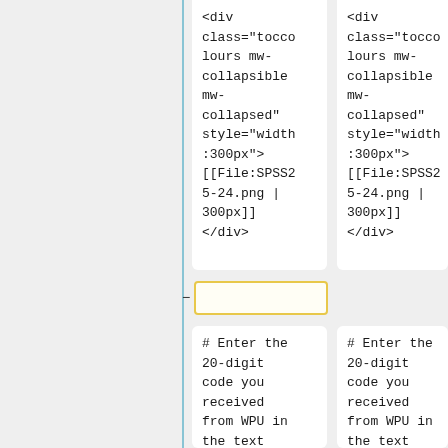<div class="toccol ours mw-collapsible mw-collapsed" style="width :300px"> [[File:SPSS2 5-24.png | 300px]] </div>
<div class="toccol ours mw-collapsible mw-collapsed" style="width :300px"> [[File:SPSS2 5-24.png | 300px]] </div>
# Enter the 20-digit code you received from WPU in the text field. Use
# Enter the 20-digit code you received from WPU in the text field. Use